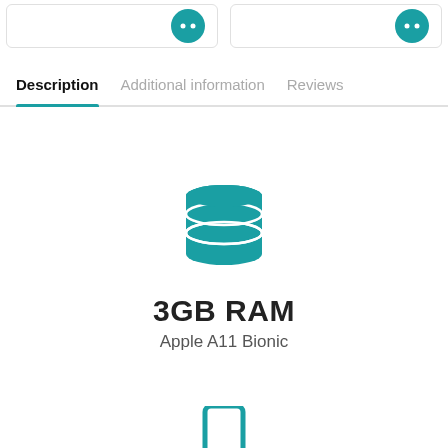Description | Additional information | Reviews
[Figure (illustration): Teal database/stack icon representing 3GB RAM]
3GB RAM
Apple A11 Bionic
[Figure (illustration): Teal smartphone/phone outline icon visible at bottom]